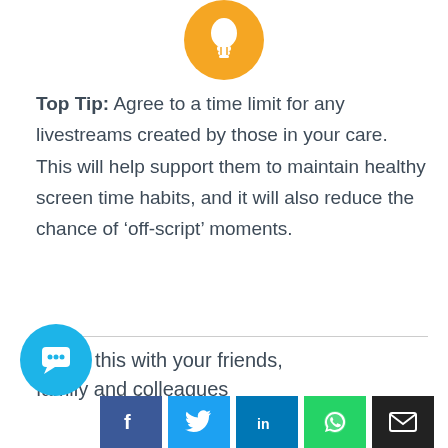[Figure (illustration): Yellow circle icon with white lightbulb graphic at top center of page]
Top Tip: Agree to a time limit for any livestreams created by those in your care. This will help support them to maintain healthy screen time habits, and it will also reduce the chance of 'off-script' moments.
Share this with your friends, family and colleagues
[Figure (illustration): Blue circular chat/messaging button icon on the left side]
[Figure (illustration): Row of social media share buttons: Facebook (dark blue), Twitter (light blue), LinkedIn (medium blue), WhatsApp (green), Email (black)]